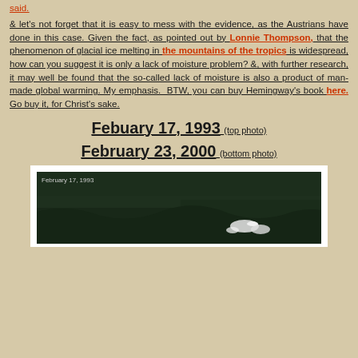said.
& let's not forget that it is easy to mess with the evidence, as the Austrians have done in this case. Given the fact, as pointed out by Lonnie Thompson, that the phenomenon of glacial ice melting in the mountains of the tropics is widespread, how can you suggest it is only a lack of moisture problem? &, with further research, it may well be found that the so-called lack of moisture is also a product of man-made global warming. My emphasis.  BTW, you can buy Hemingway's book here. Go buy it, for Christ's sake.
Febuary 17, 1993 (top photo)
February 23, 2000 (bottom photo)
[Figure (photo): Aerial photograph labeled February 17, 1993 showing dark mountainous terrain with some snow/ice visible in the lower right area]